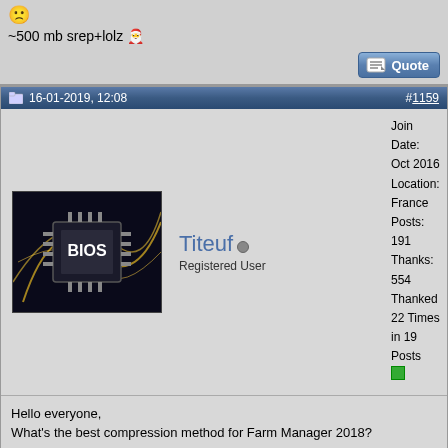~500 mb srep+lolz
16-01-2019, 12:08
#1159
[Figure (photo): User avatar showing a BIOS chip on dark background with gold circuit lines]
Titeuf
Registered User
Join Date: Oct 2016
Location: France
Posts: 191
Thanks: 554
Thanked 22 Times in 19 Posts
Hello everyone,
What's the best compression method for Farm Manager 2018?
thanks in advance
16-01-2019, 14:22
#1160
[Figure (photo): User avatar showing Aston Martin Cognizant Formula One Team person in racing gear]
JustFun
Registered User
Join Date: Jan 2013
Location: Bosnia and Herzegovina
Posts: 212
Thanks: 1,250
Thanked 379 Times in 124 Posts